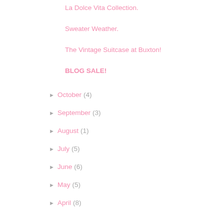La Dolce Vita Collection.
Sweater Weather.
The Vintage Suitcase at Buxton!
BLOG SALE!
► October (4)
► September (3)
► August (1)
► July (5)
► June (6)
► May (5)
► April (8)
► March (4)
► February (6)
► January (7)
► 2013 (75)